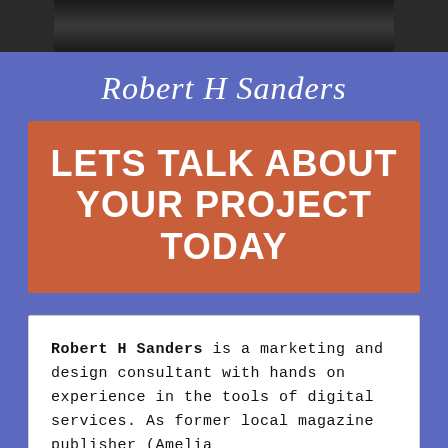[Figure (photo): Partial photo of a person (head/hair visible), cropped at the top of the page]
Robert H Sanders
LETS TALK ABOUT YOUR PROJECT TODAY
Robert H Sanders is a marketing and design consultant with hands on experience in the tools of digital services. As former local magazine publisher (Amelia